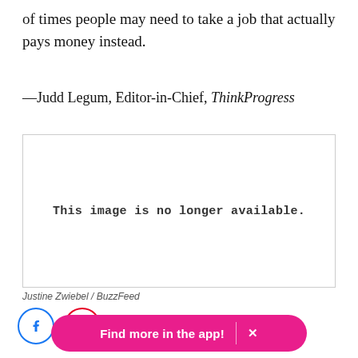of times people may need to take a job that actually pays money instead.
—Judd Legum, Editor-in-Chief, ThinkProgress
[Figure (photo): Image placeholder reading 'This image is no longer available.']
Justine Zwiebel / BuzzFeed
[Figure (other): Social share icons: Facebook (blue circle) and Pinterest (red circle)]
Find more in the app!  ×